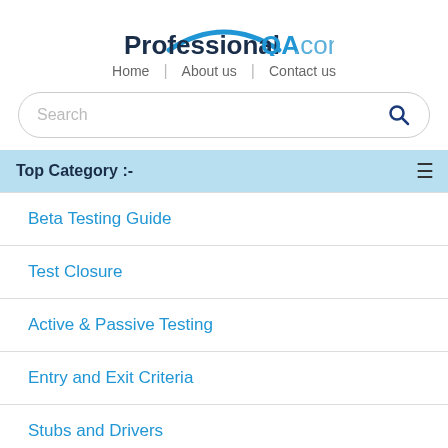[Figure (logo): ProfessionalQA.com logo with arc above text]
Home | About us | Contact us
Search
Top Category :-
Beta Testing Guide
Test Closure
Active & Passive Testing
Entry and Exit Criteria
Stubs and Drivers